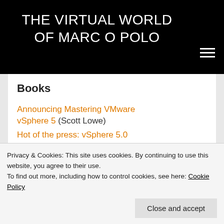THE VIRTUAL WORLD OF MARC O POLO
Books
Announcing Mastering VMware vSphere 5 (Scott Lowe)
Hot of the press: vSphere 5.0
Privacy & Cookies: This site uses cookies. By continuing to use this website, you agree to their use.
To find out more, including how to control cookies, see here: Cookie Policy
Close and accept